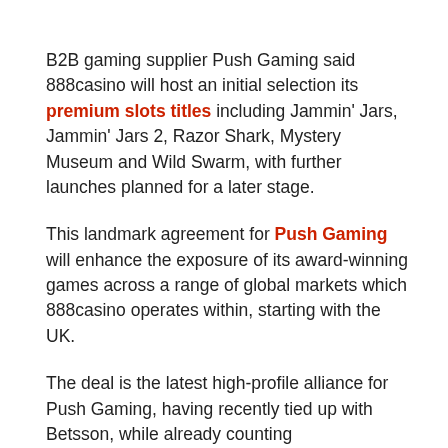B2B gaming supplier Push Gaming said 888casino will host an initial selection its premium slots titles including Jammin' Jars, Jammin' Jars 2, Razor Shark, Mystery Museum and Wild Swarm, with further launches planned for a later stage.
This landmark agreement for Push Gaming will enhance the exposure of its award-winning games across a range of global markets which 888casino operates within, starting with the UK.
The deal is the latest high-profile alliance for Push Gaming, having recently tied up with Betsson, while already counting